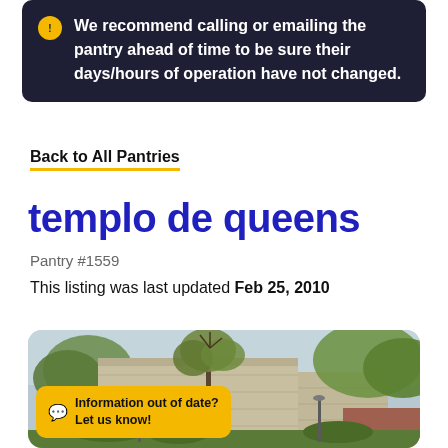We recommend calling or emailing the pantry ahead of time to be sure their days/hours of operation have not changed.
Back to All Pantries
templo de queens
Pantry #1559
This listing was last updated Feb 25, 2010
[Figure (photo): Exterior photo of a stone/concrete building with trees in front, taken from street level. A small yellow chat bubble overlay reads 'Information out of date? Let us know!']